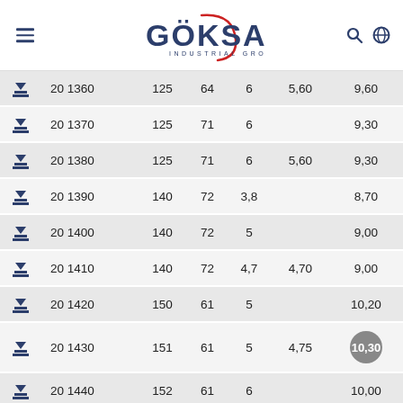GÖKSAN INDUSTRIAL GROUP
|  | Code | Col1 | Col2 | Col3 | Col4 | Col5 |
| --- | --- | --- | --- | --- | --- | --- |
| ↓ | 20 1360 | 125 | 64 | 6 | 5,60 | 9,60 |
| ↓ | 20 1370 | 125 | 71 | 6 |  | 9,30 |
| ↓ | 20 1380 | 125 | 71 | 6 | 5,60 | 9,30 |
| ↓ | 20 1390 | 140 | 72 | 3,8 |  | 8,70 |
| ↓ | 20 1400 | 140 | 72 | 5 |  | 9,00 |
| ↓ | 20 1410 | 140 | 72 | 4,7 | 4,70 | 9,00 |
| ↓ | 20 1420 | 150 | 61 | 5 |  | 10,20 |
| ↓ | 20 1430 | 151 | 61 | 5 | 4,75 | 10,30 |
| ↓ | 20 1440 | 152 | 61 | 6 |  | 10,00 |